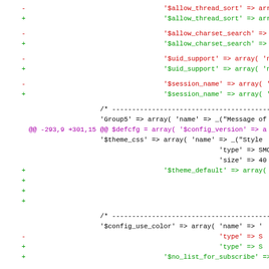[Figure (screenshot): Code diff view showing PHP configuration array changes with red/green diff markers and purple hunk headers on white background]